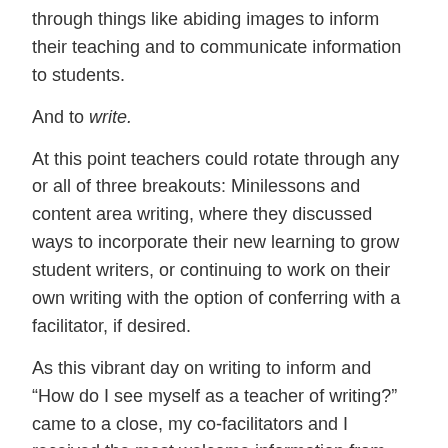through things like abiding images to inform their teaching and to communicate information to students.
And to write.
At this point teachers could rotate through any or all of three breakouts: Minilessons and content area writing, where they discussed ways to incorporate their new learning to grow student writers, or continuing to work on their own writing with the option of conferring with a facilitator, if desired.
As this vibrant day on writing to inform and “How do I see myself as a teacher of writing?” came to a close, my co-facilitators and I received the most welcome information from our fellow educators who span grades K-12 and all content areas, including ESL and AIG: These